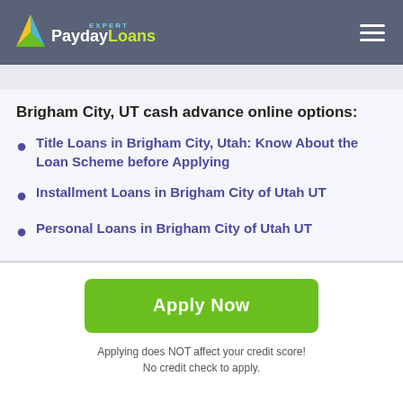PaydayLoans Expert
Brigham City, UT cash advance online options:
Title Loans in Brigham City, Utah: Know About the Loan Scheme before Applying
Installment Loans in Brigham City of Utah UT
Personal Loans in Brigham City of Utah UT
Apply Now
Applying does NOT affect your credit score!
No credit check to apply.